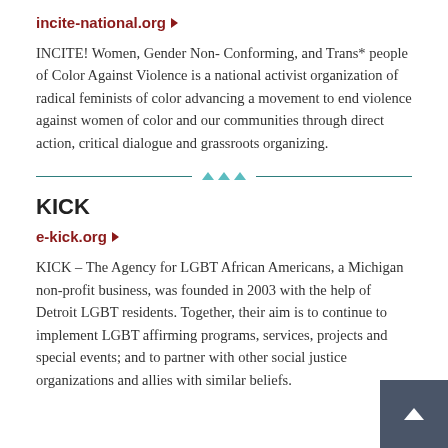incite-national.org
INCITE! Women, Gender Non- Conforming, and Trans* people of Color Against Violence is a national activist organization of radical feminists of color advancing a movement to end violence against women of color and our communities through direct action, critical dialogue and grassroots organizing.
KICK
e-kick.org
KICK – The Agency for LGBT African Americans, a Michigan non-profit business, was founded in 2003 with the help of Detroit LGBT residents. Together, their aim is to continue to implement LGBT affirming programs, services, projects and special events; and to partner with other social justice organizations and allies with similar beliefs.